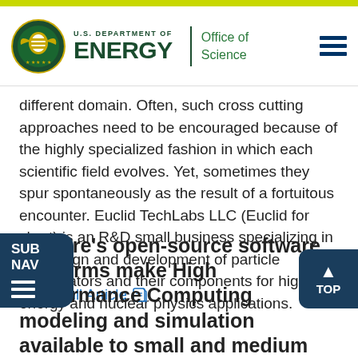U.S. DEPARTMENT OF ENERGY | Office of Science
different domain. Often, such cross cutting approaches need to be encouraged because of the highly specialized fashion in which each scientific field evolves. Yet, sometimes they spur spontaneously as the result of a fortuitous encounter. Euclid TechLabs LLC (Euclid for short) is an R&D small business specializing in the design and development of particle accelerators and their components for high energy and nuclear physics applications.
Read Full Article
Kitware's open-source software platforms make High Performance Computing modeling and simulation available to small and medium